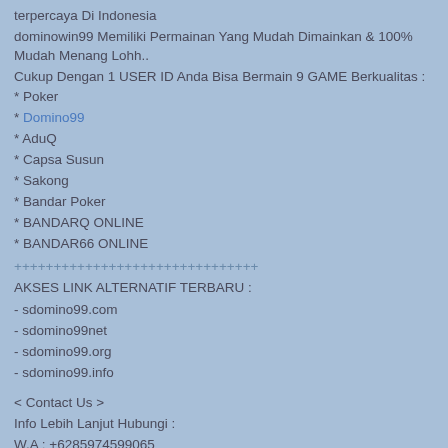terpercaya Di Indonesia
dominowin99 Memiliki Permainan Yang Mudah Dimainkan & 100% Mudah Menang Lohh..
Cukup Dengan 1 USER ID Anda Bisa Bermain 9 GAME Berkualitas :
* Poker
* Domino99
* AduQ
* Capsa Susun
* Sakong
* Bandar Poker
* BANDARQ ONLINE
* BANDAR66 ONLINE
+++++++++++++++++++++++++++++++
AKSES LINK ALTERNATIF TERBARU :
- sdomino99.com
- sdomino99net
- sdomino99.org
- sdomino99.info
< Contact Us >
Info Lebih Lanjut Hubungi :
W.A : +6285974599065